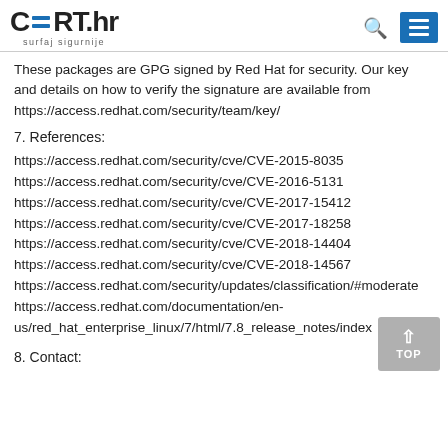CERT.hr surfaj sigurnije
These packages are GPG signed by Red Hat for security. Our key and details on how to verify the signature are available from https://access.redhat.com/security/team/key/
7. References:
https://access.redhat.com/security/cve/CVE-2015-8035
https://access.redhat.com/security/cve/CVE-2016-5131
https://access.redhat.com/security/cve/CVE-2017-15412
https://access.redhat.com/security/cve/CVE-2017-18258
https://access.redhat.com/security/cve/CVE-2018-14404
https://access.redhat.com/security/cve/CVE-2018-14567
https://access.redhat.com/security/updates/classification/#moderate
https://access.redhat.com/documentation/en-us/red_hat_enterprise_linux/7/html/7.8_release_notes/index
8. Contact: